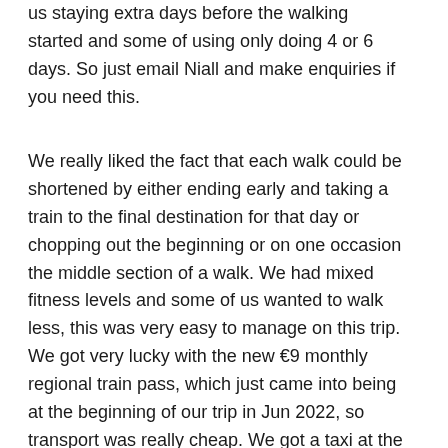us staying extra days before the walking started and some of using only doing 4 or 6 days. So just email Niall and make enquiries if you need this.
We really liked the fact that each walk could be shortened by either ending early and taking a train to the final destination for that day or chopping out the beginning or on one occasion the middle section of a walk. We had mixed fitness levels and some of us wanted to walk less, this was very easy to manage on this trip. We got very lucky with the new €9 monthly regional train pass, which just came into being at the beginning of our trip in Jun 2022, so transport was really cheap. We got a taxi at the end of a walk to the hotel one day by popping into a bar and asking them to book it for us. The price was reasonable.